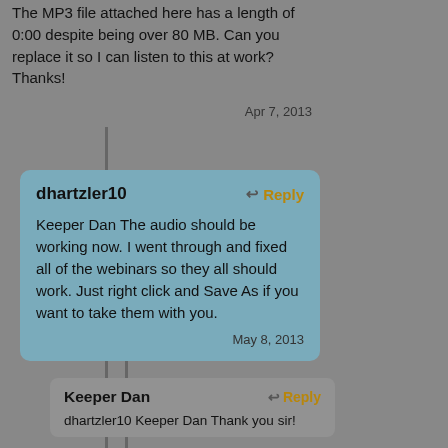The MP3 file attached here has a length of 0:00 despite being over 80 MB. Can you replace it so I can listen to this at work?
Thanks!
Apr 7, 2013
dhartzler10
Reply
Keeper Dan The audio should be working now. I went through and fixed all of the webinars so they all should work. Just right click and Save As if you want to take them with you.
May 8, 2013
Keeper Dan
Reply
dhartzler10 Keeper Dan Thank you sir!